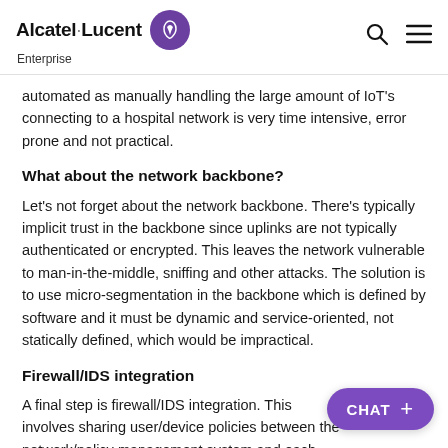Alcatel·Lucent Enterprise
automated as manually handling the large amount of IoT's connecting to a hospital network is very time intensive, error prone and not practical.
What about the network backbone?
Let's not forget about the network backbone. There's typically implicit trust in the backbone since uplinks are not typically authenticated or encrypted. This leaves the network vulnerable to man-in-the-middle, sniffing and other attacks. The solution is to use micro-segmentation in the backbone which is defined by software and it must be dynamic and service-oriented, not statically defined, which would be impractical.
Firewall/IDS integration
A final step is firewall/IDS integration. This involves sharing user/device policies between the network/policy management system and each...